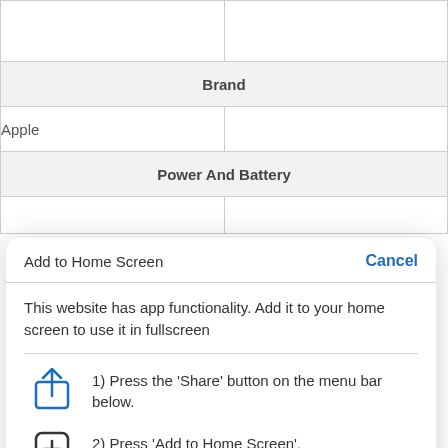|  |  |
| --- | --- |
|  |  |
| Brand |  |
| Apple |  |
| Power And Battery |  |
|  |  |
Add to Home Screen
Cancel
This website has app functionality. Add it to your home screen to use it in fullscreen
1) Press the 'Share' button on the menu bar below.
2) Press 'Add to Home Screen'.